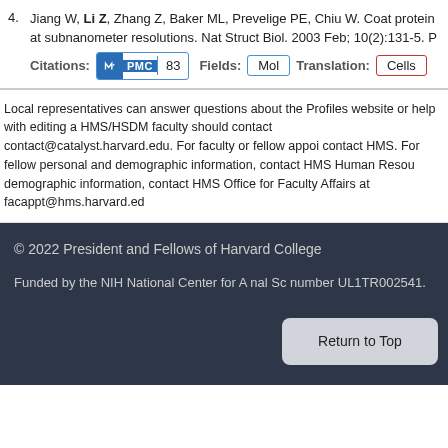4. Jiang W, Li Z, Zhang Z, Baker ML, Prevelige PE, Chiu W. Coat protein at subnanometer resolutions. Nat Struct Biol. 2003 Feb; 10(2):131-5. Citations: PMC 83 Fields: Mol Translation: Cells
Local representatives can answer questions about the Profiles website or help with editing a HMS/HSDM faculty should contact contact@catalyst.harvard.edu. For faculty or fellow appoi contact HMS. For fellow personal and demographic information, contact HMS Human Resou demographic information, contact HMS Office for Faculty Affairs at facappt@hms.harvard.ed
© 2022 President and Fellows of Harvard College
Funded by the NIH National Center for A number UL1TR002541.